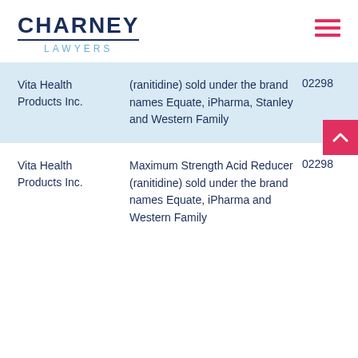[Figure (logo): Charney Lawyers logo with dark navy CHARNEY text, horizontal divider, and light blue LAWYERS text]
| Company | Product | DIN |
| --- | --- | --- |
| Vita Health Products Inc. | (ranitidine) sold under the brand names Equate, iPharma, Stanley and Western Family | 02298... |
| Vita Health Products Inc. | Maximum Strength Acid Reducer (ranitidine) sold under the brand names Equate, iPharma and Western Family | 02298... |